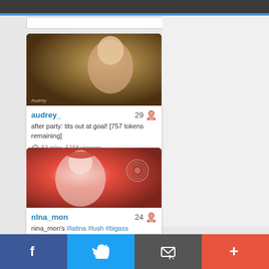[Figure (screenshot): Top dark navigation bar of a website]
[Figure (photo): Thumbnail photo for user audrey_ showing a young blonde woman in a bedroom setting]
audrey_   29
after party: tits out at goal! [757 tokens remaining]
53 mins, 5158 viewers
[Figure (photo): Thumbnail photo for user nlna_mon showing a woman in a red outfit in a bedroom]
nlna_mon   24
nina_mon's #latina #lush #bigass #bigboobs #colombia
[Figure (screenshot): Bottom navigation bar with Facebook, Twitter, email, and plus buttons]